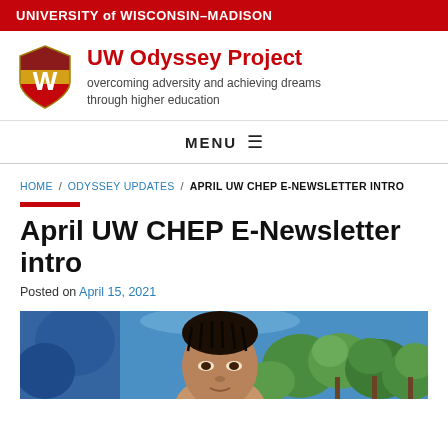UNIVERSITY of WISCONSIN–MADISON
UW Odyssey Project
overcoming adversity and achieving dreams through higher education
MENU ☰
HOME / ODYSSEY UPDATES / APRIL UW CHEP E-NEWSLETTER INTRO
April UW CHEP E-Newsletter intro
Posted on April 15, 2021
[Figure (photo): Person with braided hair in front of a colorful painted background with green trees and blue sky]